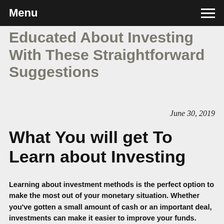Menu
Educated About Investing With These Straightforward Suggestions
June 30, 2019
What You will get To Learn about Investing
Learning about investment methods is the perfect option to make the most out of your monetary situation. Whether you've gotten a small amount of cash or an important deal, investments can make it easier to improve your funds. Learn about investing methods…